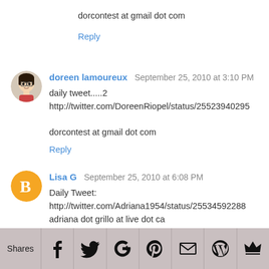dorcontest at gmail dot com
Reply
doreen lamoureux  September 25, 2010 at 3:10 PM
daily tweet.....2
http://twitter.com/DoreenRiopel/status/25523940295

dorcontest at gmail dot com
Reply
Lisa G  September 25, 2010 at 6:08 PM
Daily Tweet:
http://twitter.com/Adriana1954/status/25534592288
adriana dot grillo at live dot ca
Reply
[Figure (infographic): Social sharing bar with Shares label and icons for Facebook, Twitter, Google+, Pinterest, Email, WordPress, and a crown/bookmark icon]